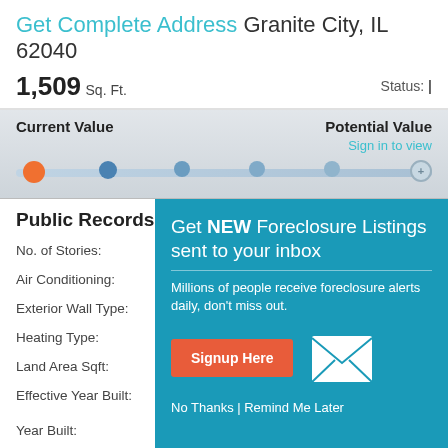Get Complete Address Granite City, IL 62040
1,509 Sq. Ft.   Status:
[Figure (screenshot): Slider bar with orange dot on left and blue dots across, showing Current Value and Potential Value with Sign in to view link]
Public Records
No. of Stories:
Air Conditioning:
Exterior Wall Type:
Heating Type:
Land Area Sqft:
Effective Year Built:
[Figure (screenshot): Popup overlay on teal/blue background: Get NEW Foreclosure Listings sent to your inbox. Millions of people receive foreclosure alerts daily, don't miss out. Signup Here button. No Thanks | Remind Me Later. Mail envelope icon.]
Year Built:   Sign in to view
APN:   Sign in to view